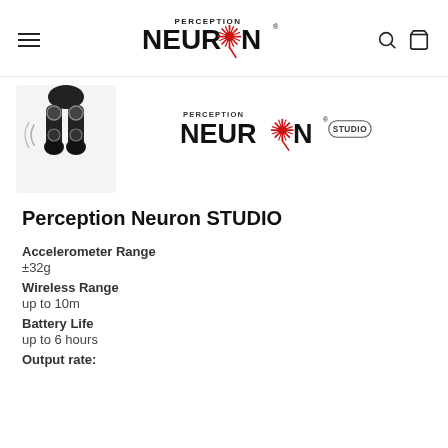Perception Neuron (logo header with hamburger menu, search, and cart icons)
[Figure (photo): Photo of a person wearing motion capture suit/leg sensors, shown from the waist down in black clothing]
[Figure (logo): Perception Neuron Studio logo with stylized neuron graphic and STUDIO badge]
Perception Neuron STUDIO
Accelerometer Range
±32g
Wireless Range
up to 10m
Battery Life
up to 6 hours
Output rate: